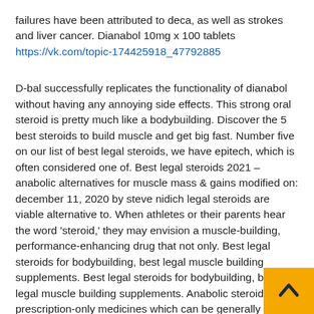failures have been attributed to deca, as well as strokes and liver cancer. Dianabol 10mg x 100 tablets https://vk.com/topic-174425918_47792885
D-bal successfully replicates the functionality of dianabol without having any annoying side effects. This strong oral steroid is pretty much like a bodybuilding. Discover the 5 best steroids to build muscle and get big fast. Number five on our list of best legal steroids, we have epitech, which is often considered one of. Best legal steroids 2021 – anabolic alternatives for muscle mass & gains modified on: december 11, 2020 by steve nidich legal steroids are viable alternative to. When athletes or their parents hear the word 'steroid,' they may envision a muscle-building, performance-enhancing drug that not only. Best legal steroids for bodybuilding, best legal muscle building supplements. Best legal steroids for bodybuilding, best legal muscle building supplements. Anabolic steroids are prescription-only medicines which can be generally taken with out medical